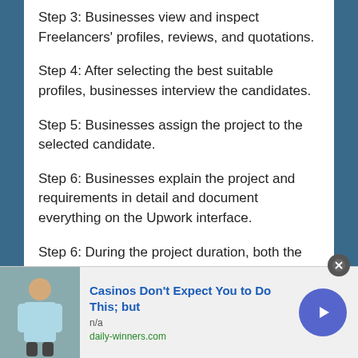Step 3: Businesses view and inspect Freelancers' profiles, reviews, and quotations.
Step 4: After selecting the best suitable profiles, businesses interview the candidates.
Step 5: Businesses assign the project to the selected candidate.
Step 6: Businesses explain the project and requirements in detail and document everything on the Upwork interface.
Step 6: During the project duration, both the parties utilize built-in features to-
Chat with each other
[Figure (other): Advertisement banner: 'Casinos Don't Expect You to Do This; but' with image of a man, n/a, daily-winners.com, and a blue circular arrow button]